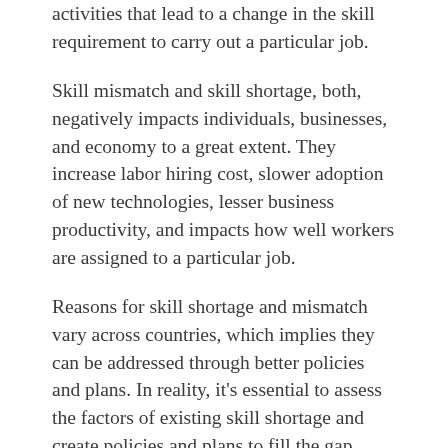activities that lead to a change in the skill requirement to carry out a particular job.
Skill mismatch and skill shortage, both, negatively impacts individuals, businesses, and economy to a great extent. They increase labor hiring cost, slower adoption of new technologies, lesser business productivity, and impacts how well workers are assigned to a particular job.
Reasons for skill shortage and mismatch vary across countries, which implies they can be addressed through better policies and plans. In reality, it's essential to assess the factors of existing skill shortage and create policies and plans to fill the gap.